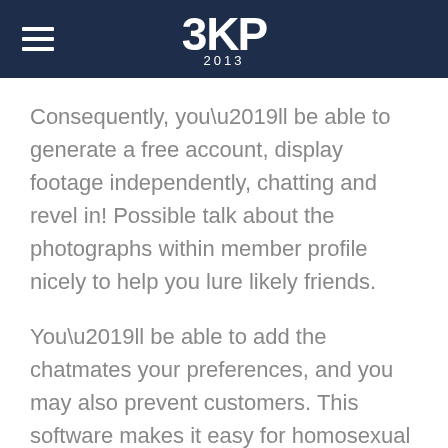3KP 2013
Consequently, you’ll be able to generate a free account, display footage independently, chatting and revel in! Possible talk about the photographs within member profile nicely to help you lure likely friends.
You’ll be able to add the chatmates your preferences, and you may also prevent customers. This software makes it easy for homosexual men and women to meeting considering that it provides them with a secure destination to link!